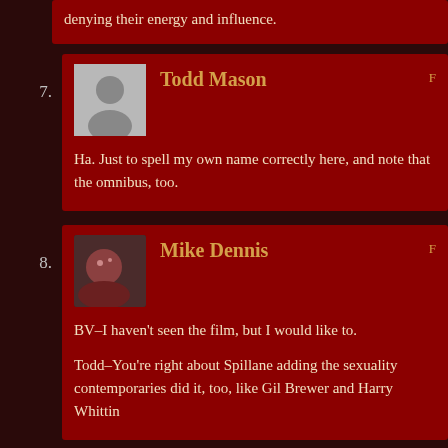denying their energy and influence.
7. Todd Mason — Ha. Just to spell my own name correctly here, and note that the omnibus, too.
8. Mike Dennis — BV–I haven't seen the film, but I would like to.

Todd–You're right about Spillane adding the sexuality contemporaries did it, too, like Gil Brewer and Harry Whittin
Max Allan Collins — Satur